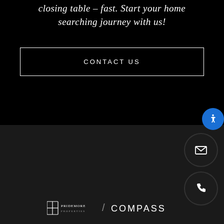closing table – fast. Start your home searching journey with us!
CONTACT US
[Figure (logo): Pridemore Properties / Compass logo lockup in white]
[Figure (other): Accessibility icon button (blue circle with person icon)]
[Figure (other): Email icon button (dark circle with envelope icon)]
[Figure (other): Phone icon button (dark circle with phone icon)]